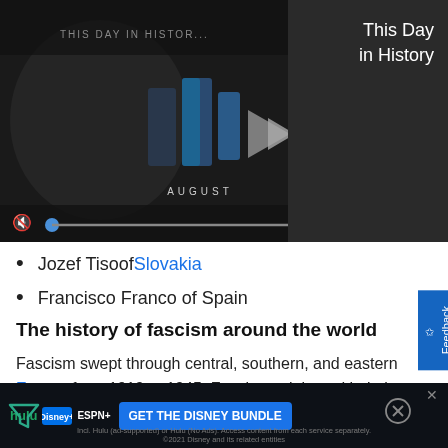[Figure (screenshot): Video player showing 'This Day in History' with play button, timeline scrubber, and playback controls on dark background]
This Day in History
Jozef Tisoof Slovakia
Francisco Franco of Spain
The history of fascism around the world
Fascism swept through central, southern, and eastern Europe from 1919 to 1945. Fascism originated in Italy under the reign of Benito Mussolini, who gained control of Italy in 1922 as the leader of the National Fascist Party...
[Figure (screenshot): Advertisement banner: Get The Disney Bundle (Hulu, Disney+, ESPN+)]